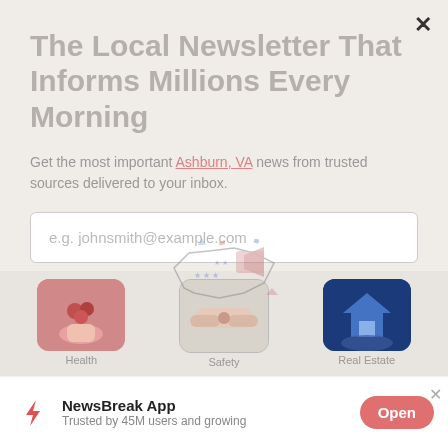The Local Newsletter That Informs Millions Every Morning
Get the most important Ashburn, VA news from trusted sources delivered to your inbox.
[Figure (screenshot): Email input field with placeholder text 'e.g. johnsmith@example.com']
[Figure (screenshot): Sign up button in muted pink/salmon color]
[Figure (infographic): Bottom section showing three category images: Health, Safety, Real Estate, with NewsBreak App banner]
NewsBreak App
Trusted by 45M users and growing